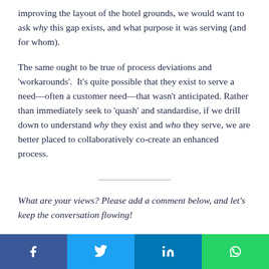improving the layout of the hotel grounds, we would want to ask why this gap exists, and what purpose it was serving (and for whom).
The same ought to be true of process deviations and 'workarounds'.  It's quite possible that they exist to serve a need—often a customer need—that wasn't anticipated. Rather than immediately seek to 'quash' and standardise, if we drill down to understand why they exist and who they serve, we are better placed to collaboratively co-create an enhanced process.
What are your views? Please add a comment below, and let's keep the conversation flowing!
Social share bar: Facebook, Twitter, LinkedIn, WhatsApp